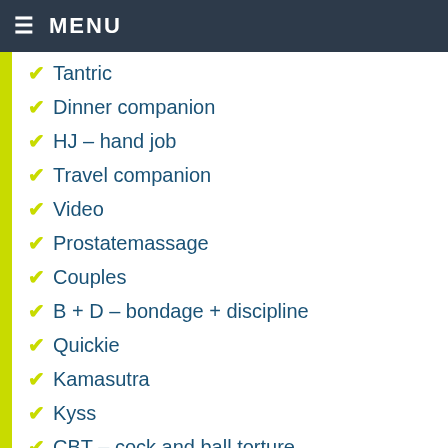≡ MENU
Tantric
Dinner companion
HJ – hand job
Travel companion
Video
Prostatemassage
Couples
B + D – bondage + discipline
Quickie
Kamasutra
Kyss
CBT – cock and ball torture
Duscha tillsammans
Mutual masturbation
Jag vill bli din slav